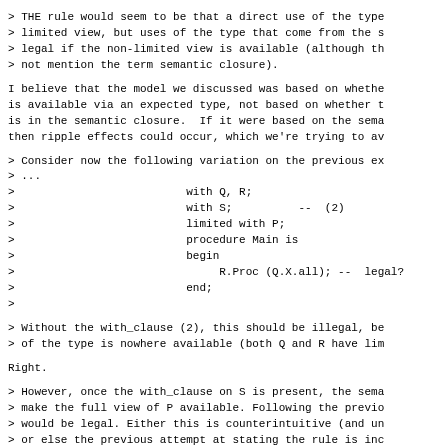> THE rule would seem to be that a direct use of the type
> limited view, but uses of the type that come from the s
> legal if the non-limited view is available (although th
> not mention the term semantic closure).
I believe that the model we discussed was based on whethe
is available via an expected type, not based on whether t
is in the semantic closure.  If it were based on the sema
then ripple effects could occur, which we're trying to av
> Consider now the following variation on the previous ex
> ...
>                          with Q, R;
>                          with S;          --  (2)
>                          limited with P;
>                          procedure Main is
>                          begin
>                               R.Proc (Q.X.all); --  legal?
>                          end;
>
> Without the with_clause (2), this should be illegal, be
> of the type is nowhere available (both Q and R have lim
Right.
> However, once the with_clause on S is present, the sema
> make the full view of P available. Following the previo
> would be legal. Either this is counterintuitive (and un
> or else the previous attempt at stating the rule is inc